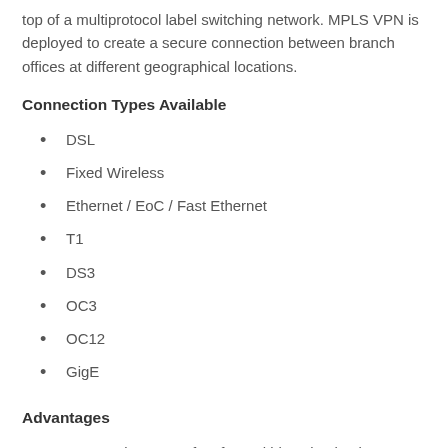top of a multiprotocol label switching network. MPLS VPN is deployed to create a secure connection between branch offices at different geographical locations.
Connection Types Available
DSL
Fixed Wireless
Ethernet / EoC / Fast Ethernet
T1
DS3
OC3
OC12
GigE
Advantages
Cost savings – Perfect for multi-location businesses and enterprises. MPLS allows for multiple access types and speeds for each of your individual locations to deliver the